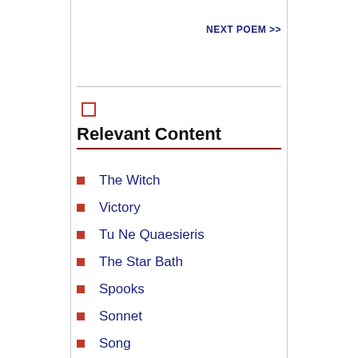NEXT POEM >>
Relevant Content
The Witch
Victory
Tu Ne Quaesieris
The Star Bath
Spooks
Sonnet
Song
Song Of The Pilgrims
To Sleep
The Satyr